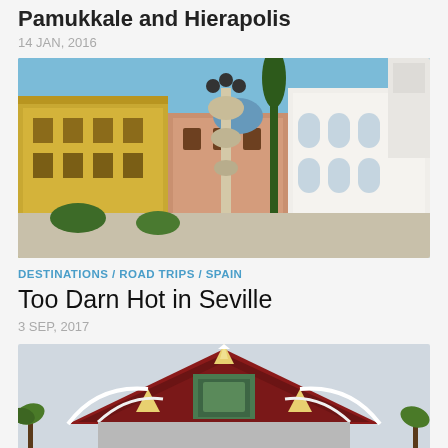Pamukkale and Hierapolis
14 JAN, 2016
[Figure (photo): Town square in Seville, Spain with ornate lamp post column, yellow colonial buildings on the left, white arched building on the right, blue sky, and trees.]
DESTINATIONS / ROAD TRIPS / SPAIN
Too Darn Hot in Seville
3 SEP, 2017
[Figure (photo): Thai temple roof with ornate gold and white decorative elements and red tiled gables against a light sky with palm trees visible below.]